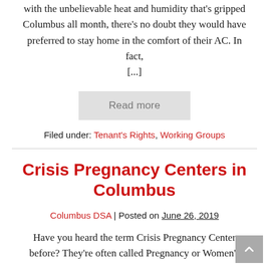with the unbelievable heat and humidity that's gripped Columbus all month, there's no doubt they would have preferred to stay home in the comfort of their AC. In fact, [...]
Read more
Filed under: Tenant's Rights, Working Groups
Crisis Pregnancy Centers in Columbus
Columbus DSA | Posted on June 26, 2019
Have you heard the term Crisis Pregnancy Center before? They're often called Pregnancy or Women's